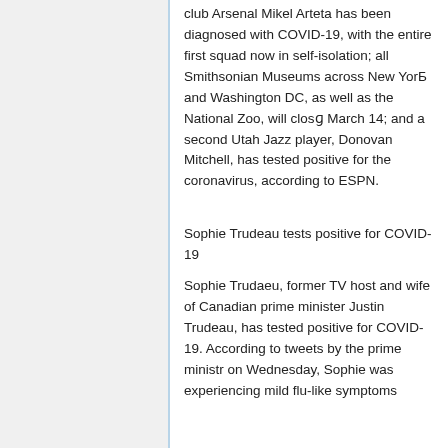club Arsenal Mikel Arteta has been diagnosed with COVID-19, with the entire first squad now in self-isolation; all Smithsonian Museums across New York and Washington DC, as well as the National Zoo, will clos  March 14; and a second Utah Jazz player, Donovan  itchell, has tested positive for the coronavirus, according t  ESPN.
Sophie Trudeau tests positive for COVID-19
Sophie Trudaeu, former TV host and wife of Canadian prime minister Justin Trudeau, has tested positive for COVID-19. According to tweets by the prime minist r on Wednesday, Sophie was experiencing mild flu-like symptoms